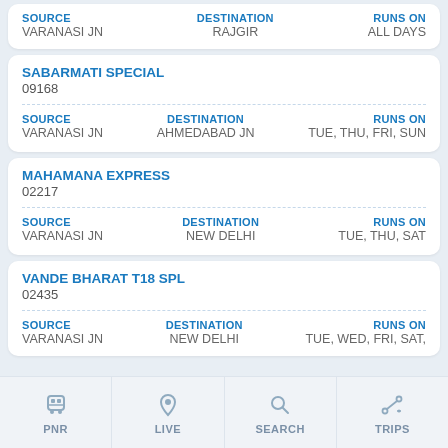SOURCE: VARANASI JN | DESTINATION: RAJGIR | RUNS ON: ALL DAYS
SABARMATI SPECIAL
09168
SOURCE: VARANASI JN | DESTINATION: AHMEDABAD JN | RUNS ON: TUE, THU, FRI, SUN
MAHAMANA EXPRESS
02217
SOURCE: VARANASI JN | DESTINATION: NEW DELHI | RUNS ON: TUE, THU, SAT
VANDE BHARAT T18 SPL
02435
SOURCE: VARANASI JN | DESTINATION: NEW DELHI | RUNS ON: TUE, WED, FRI, SAT,
[Figure (screenshot): Bottom navigation bar with four icons: PNR (train), LIVE (location pin), SEARCH (magnifier), TRIPS (route with dots)]